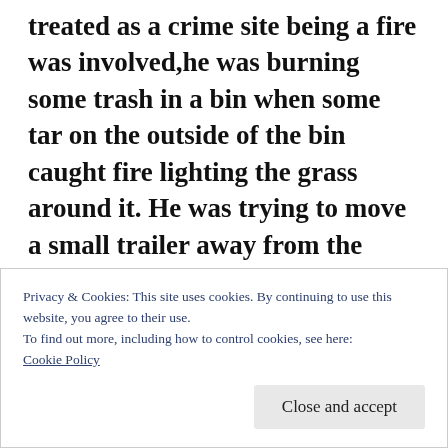treated as a crime site being a fire was involved,he was burning some trash in a bin when some tar on the outside of the bin caught fire lighting the grass around it. He was trying to move a small trailer away from the fire,when he went down on his knees,coughed than there was no more respondence. A grandson who was there called 911 right away,but till they got there the fire was pretty much out except for the front of papas shirt where he had put the lighter to
Privacy & Cookies: This site uses cookies. By continuing to use this website, you agree to their use.
To find out more, including how to control cookies, see here: Cookie Policy